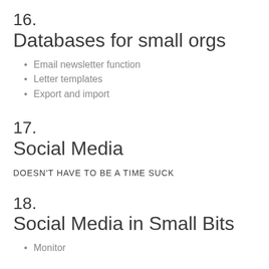16.
Databases for small orgs
Email newsletter function
Letter templates
Export and import
17.
Social Media
DOESN'T HAVE TO BE A TIME SUCK
18.
Social Media in Small Bits
Monitor